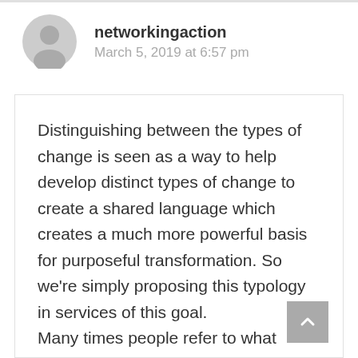networkingaction
March 5, 2019 at 6:57 pm
Distinguishing between the types of change is seen as a way to help develop distinct types of change to create a shared language which creates a much more powerful basis for purposeful transformation. So we’re simply proposing this typology in services of this goal.
Many times people refer to what they’re doing as “transformational”, and mean quite different things. By being